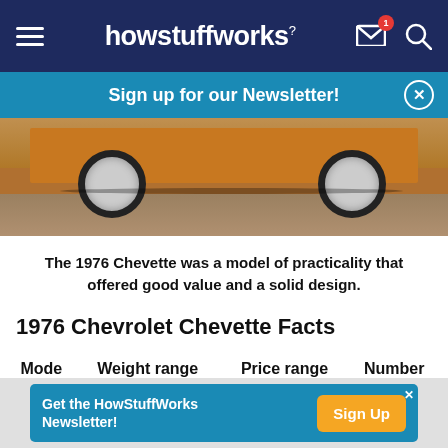howstuffworks
Sign up for our Newsletter!
[Figure (photo): Bottom portion of a 1976 orange Chevrolet Chevette showing the wheels and undercarriage on a road with grass/landscape in background]
The 1976 Chevette was a model of practicality that offered good value and a solid design.
1976 Chevrolet Chevette Facts
| Model | Weight range (lbs.) | Price range (new) | Number built |
| --- | --- | --- | --- |
Get the HowStuffWorks Newsletter!